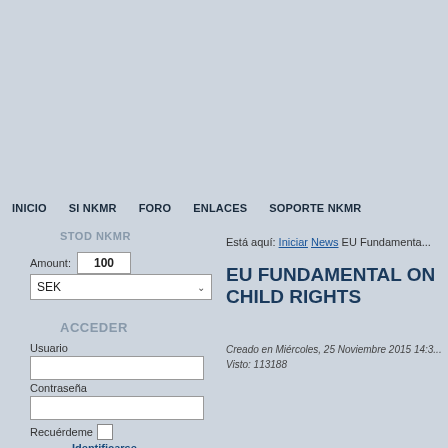INICIO  SI NKMR  FORO  ENLACES  SOPORTE NKMR
STOD NKMR
Amount: 100
SEK
ACCEDER
Usuario
Contraseña
Recuérdeme
Identificarse
Está aquí: Iniciar  News  EU Fundamenta...
EU FUNDAMENTAL ON CHILD RIGHTS
Creado en Miércoles, 25 Noviembre 2015 14:3...
Visto: 113188